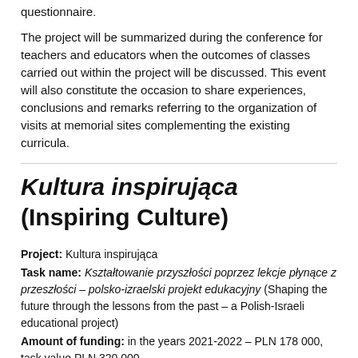questionnaire.
The project will be summarized during the conference for teachers and educators when the outcomes of classes carried out within the project will be discussed. This event will also constitute the occasion to share experiences, conclusions and remarks referring to the organization of visits at memorial sites complementing the existing curricula.
Kultura inspirująca (Inspiring Culture)
Project: Kultura inspirująca
Task name: Kształtowanie przyszłości poprzez lekcje płynące z przeszłości – polsko-izraelski projekt edukacyjny (Shaping the future through the lessons from the past – a Polish-Israeli educational project)
Amount of funding: in the years 2021-2022 – PLN 178 000, task value PLN 320 000
Task description: The aim of the project is to spread the